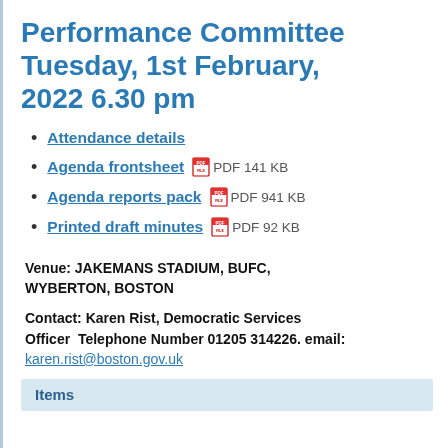Performance Committee Tuesday, 1st February, 2022 6.30 pm
Attendance details
Agenda frontsheet  PDF 141 KB
Agenda reports pack  PDF 941 KB
Printed draft minutes  PDF 92 KB
Venue: JAKEMANS STADIUM, BUFC, WYBERTON, BOSTON
Contact: Karen Rist, Democratic Services Officer  Telephone Number 01205 314226. email: karen.rist@boston.gov.uk
Items